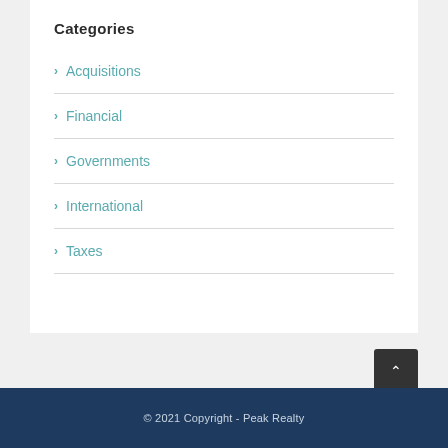Categories
Acquisitions
Financial
Governments
International
Taxes
© 2021 Copyright - Peak Realty